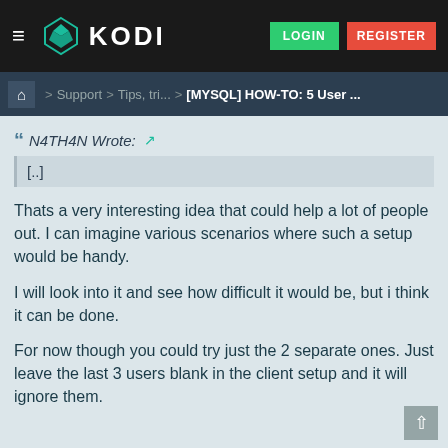KODI — LOGIN | REGISTER
Home > Support > Tips, tri... > [MYSQL] HOW-TO: 5 User ...
N4TH4N Wrote:
[..]
Thats a very interesting idea that could help a lot of people out. I can imagine various scenarios where such a setup would be handy.
I will look into it and see how difficult it would be, but i think it can be done.
For now though you could try just the 2 separate ones. Just leave the last 3 users blank in the client setup and it will ignore them.